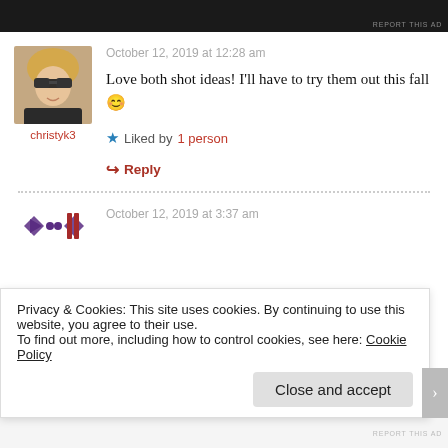[Figure (screenshot): Dark advertisement bar at top of page with 'REPORT THIS AD' text]
[Figure (photo): Profile photo of a blonde woman wearing sunglasses, avatar for user christyk3]
christyk3
October 12, 2019 at 12:28 am
Love both shot ideas! I’ll have to try them out this fall 😊
★ Liked by 1 person
↪ Reply
[Figure (screenshot): Dotted divider line between comments]
[Figure (logo): Decorative avatar/logo for second commenter with geometric diamond and arrow shapes]
October 12, 2019 at 3:37 am
Privacy & Cookies: This site uses cookies. By continuing to use this website, you agree to their use.
To find out more, including how to control cookies, see here: Cookie Policy
Close and accept